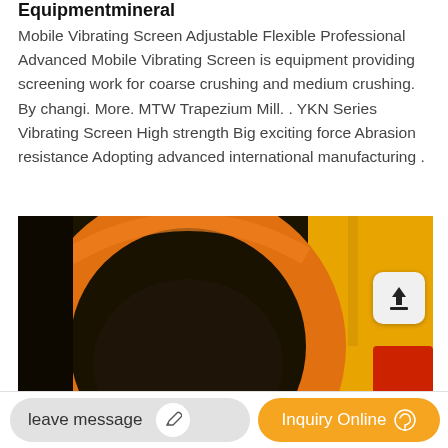Equipmentmineral
Mobile Vibrating Screen Adjustable Flexible Professional Advanced Mobile Vibrating Screen is equipment providing screening work for coarse crushing and medium crushing. By changi. More. MTW Trapezium Mill. . YKN Series Vibrating Screen High strength Big exciting force Abrasion resistance Adopting advanced international manufacturing .
[Figure (photo): Close-up photograph of industrial vibrating screen equipment showing a large orange/black circular drum opening, with yellow machinery visible in the background.]
leave message
Inquiry Online